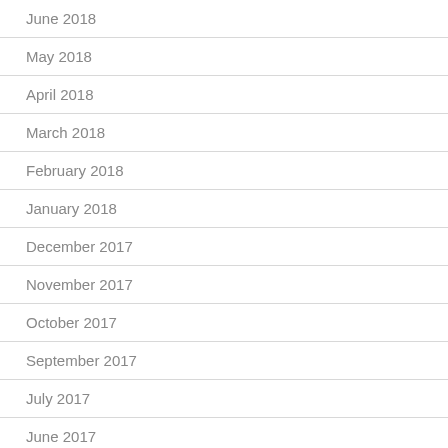June 2018
May 2018
April 2018
March 2018
February 2018
January 2018
December 2017
November 2017
October 2017
September 2017
July 2017
June 2017
May 2017
April 2017